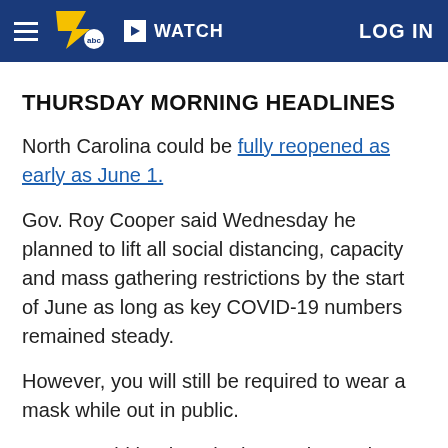WATCH | LOG IN
THURSDAY MORNING HEADLINES
North Carolina could be fully reopened as early as June 1.
Gov. Roy Cooper said Wednesday he planned to lift all social distancing, capacity and mass gathering restrictions by the start of June as long as key COVID-19 numbers remained steady.
However, you will still be required to wear a mask while out in public.
Cooper said he thought the mask mandate would remain in place until at least 66 percent of North